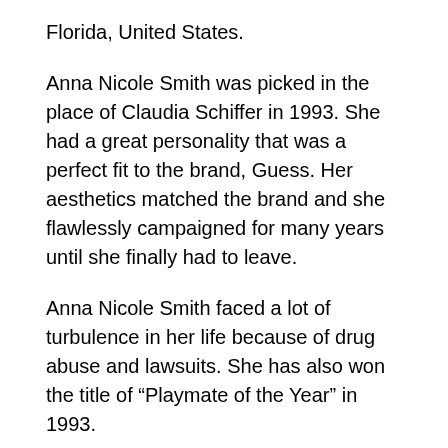Florida, United States.
Anna Nicole Smith was picked in the place of Claudia Schiffer in 1993. She had a great personality that was a perfect fit to the brand, Guess. Her aesthetics matched the brand and she flawlessly campaigned for many years until she finally had to leave.
Anna Nicole Smith faced a lot of turbulence in her life because of drug abuse and lawsuits. She has also won the title of “Playmate of the Year” in 1993.